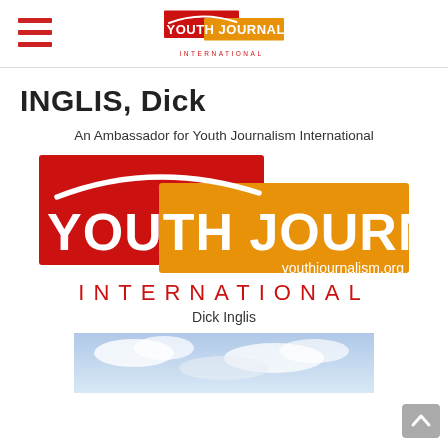Youth Journalism International — navigation header with hamburger menu and logo
INGLIS, Dick
An Ambassador for Youth Journalism International
[Figure (logo): Youth Journalism International logo with red rectangle background, orange rectangle, white curved arch, large white bold text 'YOUTH JOURNALISM', text 'youthjournalism.org', and red spaced letters 'INTERNATIONAL' below]
Dick Inglis
[Figure (photo): Partial photo of Dick Inglis against a cloudy sky background]